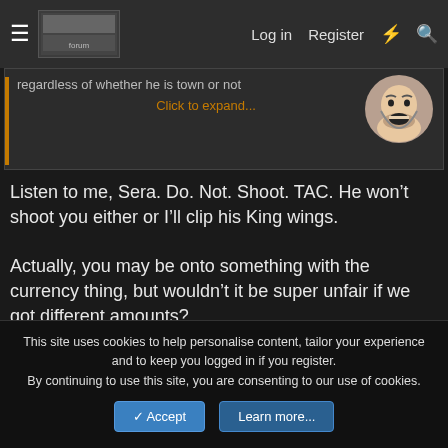≡  [logo]  Log in  Register  ⚡  🔍
regardless of whether he is town or not
Click to expand...
Listen to me, Sera. Do. Not. Shoot. TAC. He won't shoot you either or I'll clip his King wings.

Actually, you may be onto something with the currency thing, but wouldn't it be super unfair if we got different amounts? This could be the only moment where the countries are relevant? Or are we just going crazy at this point?
👍 Seraphoenix
This site uses cookies to help personalise content, tailor your experience and to keep you logged in if you register.
By continuing to use this site, you are consenting to our use of cookies.